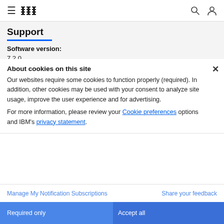IBM navigation bar with hamburger menu, IBM logo, search icon, and user icon
Support
Software version:
7.2.0
Operating system(s):
IBM i
6466871
Modified date:
18 June 2022
About cookies on this site
Our websites require some cookies to function properly (required). In addition, other cookies may be used with your consent to analyze site usage, improve the user experience and for advertising.
For more information, please review your Cookie preferences options and IBM's privacy statement.
Manage My Notification Subscriptions   Share your feedback
Required only   Accept all